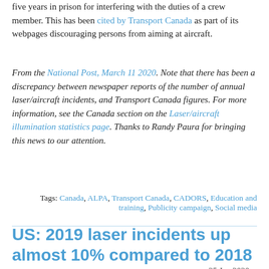five years in prison for interfering with the duties of a crew member. This has been cited by Transport Canada as part of its webpages discouraging persons from aiming at aircraft.
From the National Post, March 11 2020. Note that there has been a discrepancy between newspaper reports of the number of annual laser/aircraft incidents, and Transport Canada figures. For more information, see the Canada section on the Laser/aircraft illumination statistics page. Thanks to Randy Paura for bringing this news to our attention.
Tags: Canada, ALPA, Transport Canada, CADORS, Education and training, Publicity campaign, Social media
US: 2019 laser incidents up almost 10% compared to 2018
25 Jan 2020 --
In 2019, the U.S. Federal Aviation Administration received 6,212 reports from pilots of lasers being visible or